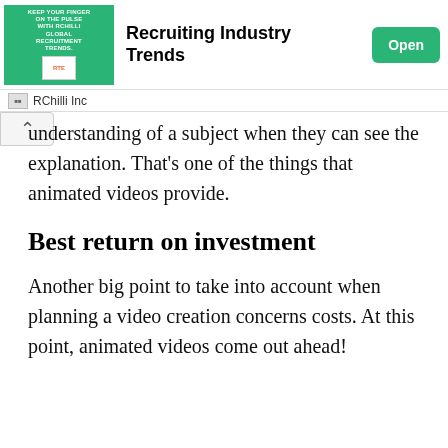[Figure (screenshot): RChilli Inc advertisement banner for Recruiting Industry Trends with green background image and Open button]
understanding of a subject when they can see the explanation. That’s one of the things that animated videos provide.
Best return on investment
Another big point to take into account when planning a video creation concerns costs. At this point, animated videos come out ahead!